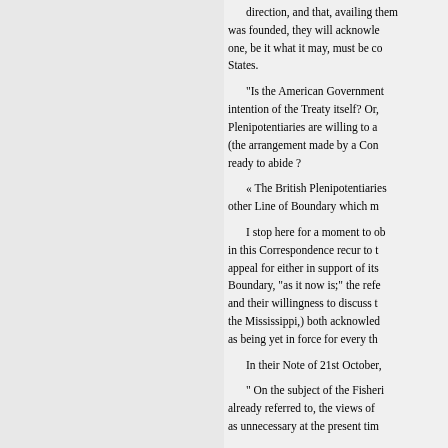direction, and that, availing them was founded, they will acknowle one, be it what it may, must be co States.
"Is the American Government intention of the Treaty itself? Or, Plenipotentiaries are willing to a (the arrangement made by a Con ready to abide ?
« The British Plenipotentiaries other Line of Boundary which m
I stop here for a moment to ob in this Correspondence recur to t appeal for either in support of its Boundary, "as it now is;" the refe and their willingness to discuss t the Mississippi,) both acknowled as being yet in force for every th
In their Note of 21st October,
" On the subject of the Fisheri already referred to, the views of as unnecessary at the present tim